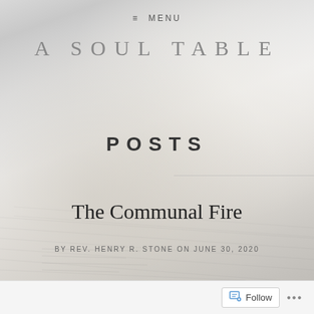≡ MENU
A SOUL TABLE
POSTS
The Communal Fire
BY REV. HENRY R. STONE ON JUNE 30, 2020
Follow ...